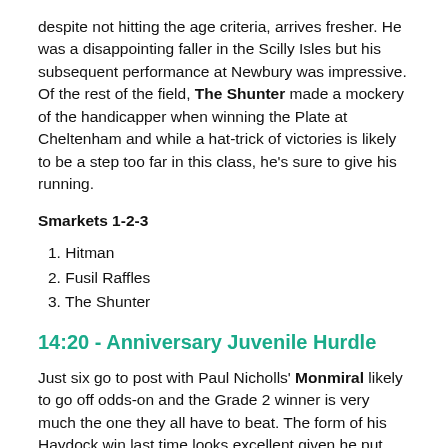despite not hitting the age criteria, arrives fresher. He was a disappointing faller in the Scilly Isles but his subsequent performance at Newbury was impressive. Of the rest of the field, The Shunter made a mockery of the handicapper when winning the Plate at Cheltenham and while a hat-trick of victories is likely to be a step too far in this class, he's sure to give his running.
Smarkets 1-2-3
1. Hitman
2. Fusil Raffles
3. The Shunter
14:20 - Anniversary Juvenile Hurdle
Just six go to post with Paul Nicholls' Monmiral likely to go off odds-on and the Grade 2 winner is very much the one they all have to beat. The form of his Haydock win last time looks excellent given he put over seven lengths between himself and Nassalam, who was second in the Finale Hurdle behind Adagio who lines up here. David Pipe's charge put in a strong performance when finishing second in the Triumph and looks